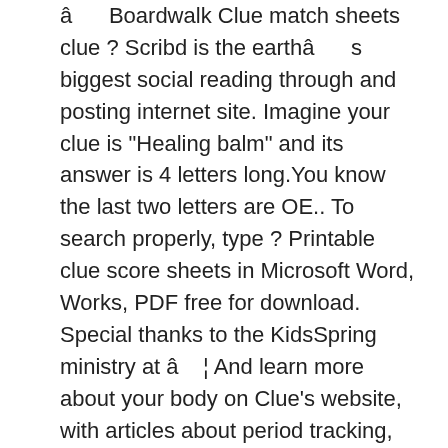â Boardwalk Clue match sheets clue ? Scribd is the earthâ s biggest social reading through and posting internet site. Imagine your clue is "Healing balm" and its answer is 4 letters long.You know the last two letters are OE.. To search properly, type ? Printable clue score sheets in Microsoft Word, Works, PDF free for download. Special thanks to the KidsSpring ministry at â ¦ And learn more about your body on Clue's website, with articles about period tracking, fertility, birth control, hormones, and sex. .. LACK OF SMOOTH PURSUIT; DISTINCT NYSTAGMUS AT MAXIMUM DEVIATION; ONSET OF NYSTAGMUS PRIOR TO 45 DEGREES; Lack of Smooth Pursuit-ability by the eyes to track and smoothly pursue a moving target. If you are looking for older Wall Street Journal â ¦ Size: 37.54KB . ?OE in the answer box. These tracking sheets can take time, but itâ s time well spent if used correctly. Pages: 1